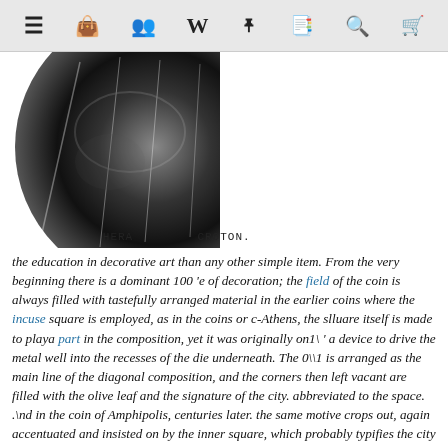Navigation bar with icons: menu, briefcase, people, W, pin, book, search, cart
[Figure (photo): Two ancient Greek coins shown in black and white. Left coin labeled HERA, right coin labeled HERCULES. Center label CROTON.]
HERA    CROTON.    HERCULES.
the education in decorative art than any other simple item. From the very beginning there is a dominant 100 'e of decoration; the field of the coin is always filled with tastefully arranged material in the earlier coins where the incuse square is employed, as in the coins or c-Athens, the slluare itself is made to playa part in the composition, yet it was originally on1\ ' a device to drive the metal well into the recesses of the die underneath. The 0\\1 is arranged as the main line of the diagonal composition, and the corners then left vacant are filled with the olive leaf and the signature of the city. abbreviated to the space. .\nd in the coin of Amphipolis, centuries later. the same motive crops out, again accentuated and insisted on by the inner square, which probably typifies the city wall and the inscription following its form. In the whole duration of Greek artistic \ 'itality this decorative sense is predominant:
the composition, the balance or rhythm ofparh, is invariably kept in view in all the arrangement of symbols. The reverse of the archaic Demareteion or decadrachm of Gelon is a superb example or the coin design of epoch 480 B. c., and is superior to anything we know of Greek contemporary coinage. The way in which the whole field is filled up the lion in the exergue, the victory floating above, the pose of the driver, the arrangement of the horses' heads, all disposed